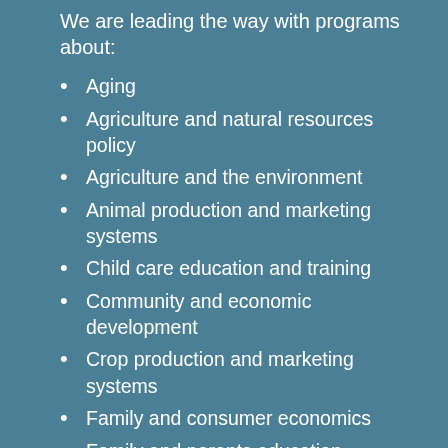We are leading the way with programs about:
Aging
Agriculture and natural resources policy
Agriculture and the environment
Animal production and marketing systems
Child care education and training
Community and economic development
Crop production and marketing systems
Family and consumer economics
Family and parents education
Food and forest products manufacturing
Food quality and safety
Health and human safety
Leadership and volunteer development
Marketing and production of alternative agricultural opportunities and enterprises
Natural resource conservation and